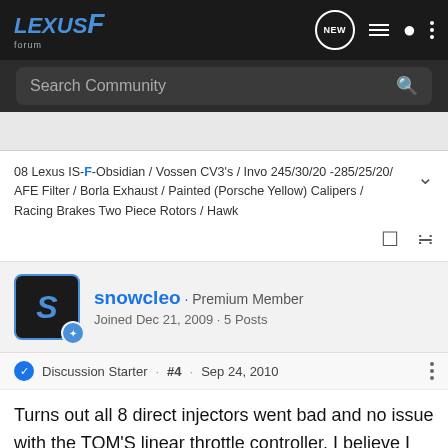Lexus F Forum
Search Community
08 Lexus IS-F-Obsidian / Vossen CV3's / Invo 245/30/20 -285/25/20/ AFE Filter / Borla Exhaust / Painted (Porsche Yellow) Calipers / Racing Brakes Two Piece Rotors / Hawk
snowcleo · Premium Member
Joined Dec 21, 2009 · 5 Posts
Discussion Starter · #4 · Sep 24, 2010
Turns out all 8 direct injectors went bad and no issue with the TOM'S linear throttle controller. I believe I got some bad gas. The injectors were caked black...